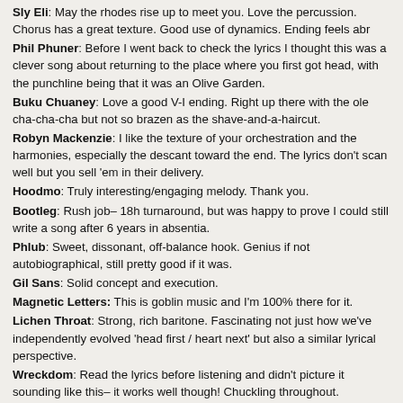Sly Eli: May the rhodes rise up to meet you. Love the percussion. Chorus has a great texture. Good use of dynamics. Ending feels abr
Phil Phuner: Before I went back to check the lyrics I thought this was a clever song about returning to the place where you first got head, with the punchline being that it was an Olive Garden.
Buku Chuaney: Love a good V-I ending. Right up there with the ole cha-cha-cha but not so brazen as the shave-and-a-haircut.
Robyn Mackenzie: I like the texture of your orchestration and the harmonies, especially the descant toward the end. The lyrics don't scan well but you sell 'em in their delivery.
Hoodmo: Truly interesting/engaging melody. Thank you.
Bootleg: Rush job– 18h turnaround, but was happy to prove I could still write a song after 6 years in absentia.
Phlub: Sweet, dissonant, off-balance hook. Genius if not autobiographical, still pretty good if it was.
Gil Sans: Solid concept and execution.
Magnetic Letters: This is goblin music and I'm 100% there for it.
Lichen Throat: Strong, rich baritone. Fascinating not just how we've independently evolved 'head first / heart next' but also a similar lyrical perspective.
Wreckdom: Read the lyrics before listening and didn't picture it sounding like this– it works well though! Chuckling throughout.
Paco Del Stinko: Love the groove. Reminds me of that Emma Goldman quote about not wanting to be part of a revolution if it doesn't involve dancing and oral sex reciprocity.